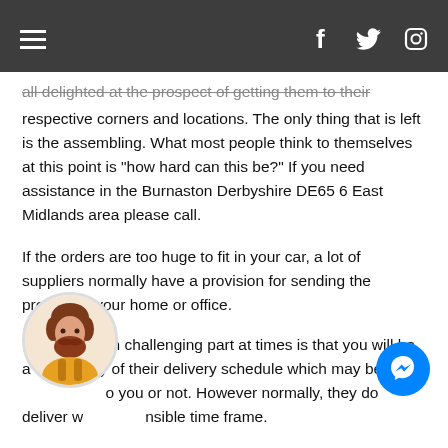Navigation bar with hamburger menu and social icons (Facebook, Twitter, Instagram)
all delighted at the prospect of getting them to their respective corners and locations. The only thing that is left is the assembling. What most people think to themselves at this point is "how hard can this be?" If you need assistance in the Burnaston Derbyshire DE65 6 East Midlands area please call.
If the orders are too huge to fit in your car, a lot of suppliers normally have a provision for sending the product to your home or office.
The only often challenging part at times is that you will be at the mercy of their delivery schedule which may be convenient to you or not. However normally, they do deliver within a sensible time frame.
The products are finally in your house or office and you